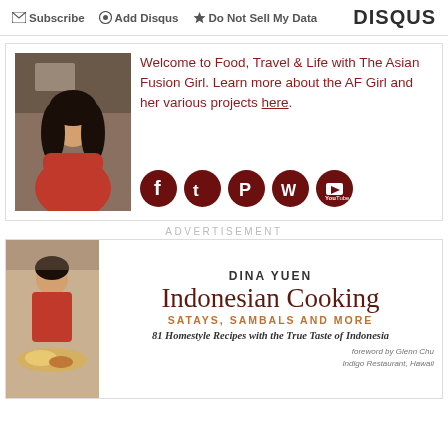Subscribe | Add Disqus | Do Not Sell My Data | DISQUS
[Figure (photo): Profile photo of Asian woman in red dress, kitchen background; social media icons: Facebook, Twitter, Pinterest, WordPress, YouTube]
Welcome to Food, Travel & Life with The Asian Fusion Girl. Learn more about the AF Girl and her various projects here.
ADVERTISEMENT
[Figure (photo): Book cover for 'Indonesian Cooking: Satays, Sambals and More' by Dina Yuen. 81 Homestyle Recipes with the True Taste of Indonesia. Foreword by Glenn Chu, Indigo Restaurant, Hawaii.]